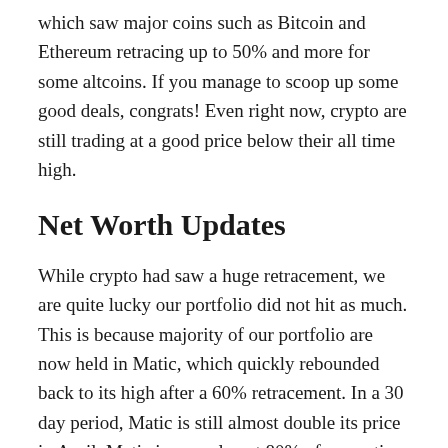which saw major coins such as Bitcoin and Ethereum retracing up to 50% and more for some altcoins. If you manage to scoop up some good deals, congrats! Even right now, crypto are still trading at a good price below their all time high.
Net Worth Updates
While crypto had saw a huge retracement, we are quite lucky our portfolio did not hit as much. This is because majority of our portfolio are now held in Matic, which quickly rebounded back to its high after a 60% retracement. In a 30 day period, Matic is still almost double its price in April. Matic is now almost 80% of our entire crypto portfolio!